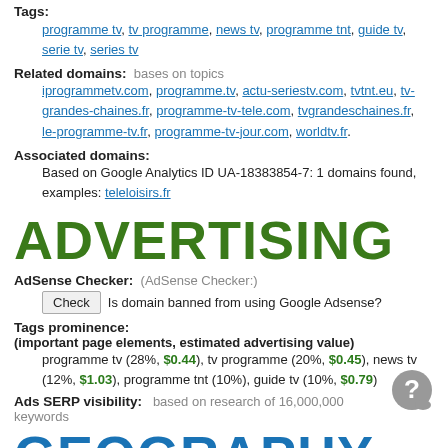Tags: programme tv, tv programme, news tv, programme tnt, guide tv, serie tv, series tv
Related domains: bases on topics
iprogrammetv.com, programme.tv, actu-seriestv.com, tvtnt.eu, tv-grandes-chaines.fr, programme-tv-tele.com, tvgrandeschaines.fr, le-programme-tv.fr, programme-tv-jour.com, worldtv.fr.
Associated domains:
Based on Google Analytics ID UA-18383854-7: 1 domains found, examples: teleloisirs.fr
ADVERTISING
AdSense Checker: (AdSense Checker:)
Check | Is domain banned from using Google Adsense?
Tags prominence:
(important page elements, estimated advertising value)
programme tv (28%, $0.44), tv programme (20%, $0.45), news tv (12%, $1.03), programme tnt (10%), guide tv (10%, $0.79)
Ads SERP visibility: based on research of 16,000,000 keywords
GEOGRAPHY